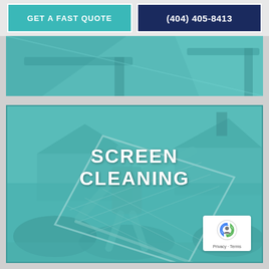GET A FAST QUOTE | (404) 405-8413
[Figure (photo): Photo of building gutters and roofline with teal/cyan color overlay]
[Figure (photo): Photo of a man holding a large window screen outdoors near a house, with teal/cyan color overlay and text 'SCREEN CLEANING' overlaid in white bold uppercase letters]
Privacy · Terms